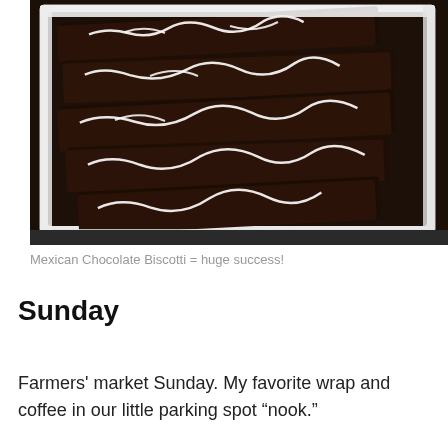[Figure (photo): Dark chocolate biscotti sticks with white icing drizzle arranged in a white rectangular container, photographed from above]
Mexican Chocolate Biscotti = huge success!
Sunday
Farmers' market Sunday. My favorite wrap and coffee in our little parking spot “nook.”